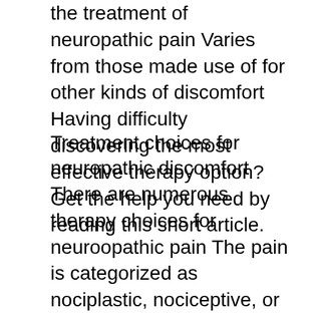the treatment of neuropathic pain Varies from those made use of for other kinds of discomfort Having difficulty discovering the most effective therapy option? Get the help you need by reading this short article.
Treatment choices for neuropathic discomfort
There are numerous therapy choices for neuroopathic pain The pain is categorized as nociplastic, nociceptive, or both. There is no damage to the somatosensory system in the latter instance. The somatosensory system is undamaged and nociceptive discomfort is triggered by excitement of nociceptors. However, in neuroopathic pain, nociceptive discomfort does not occur as a result of tissue damages. The frequency of